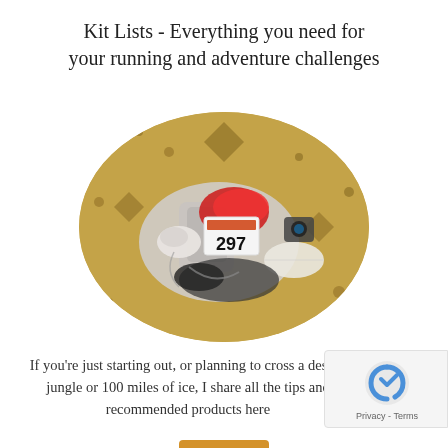Kit Lists - Everything you need for your running and adventure challenges
[Figure (photo): Oval-cropped photograph of running race kit and gear laid out on a patterned fabric/carpet, including a race bib numbered 297, gloves, backpack, and various supplies.]
If you're just starting out, or planning to cross a desert, jungle or 100 miles of ice, I share all the tips and recommended products here